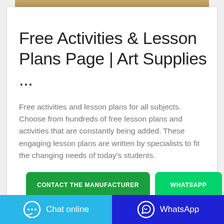[Figure (photo): Partial image of a wooden surface or art supply, tan/brown color, cropped at top of card]
Free Activities & Lesson Plans Page | Art Supplies ...
Free activities and lesson plans for all subjects. Choose from hundreds of free lesson plans and activities that are constantly being added. These engaging lesson plans are written by specialists to fit the changing needs of today's students.
CONTACT THE MANUFACTURER
WHATSAPP
Chat online  |  WhatsApp